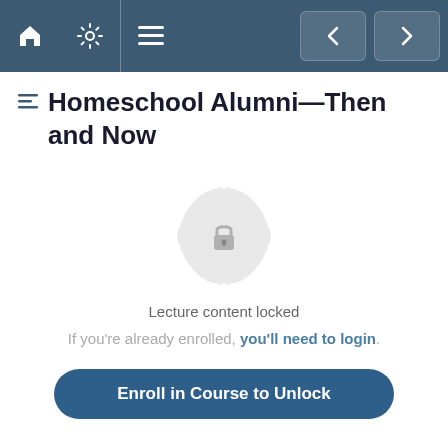Homeschool Alumni—Then and Now [navigation bar with home, settings, menu icons and prev/next buttons]
Homeschool Alumni—Then and Now
[Figure (illustration): Circular badge/medallion icon with a padlock in the center, rendered in light gray, indicating locked content.]
Lecture content locked
If you're already enrolled, you'll need to login.
Enroll in Course to Unlock